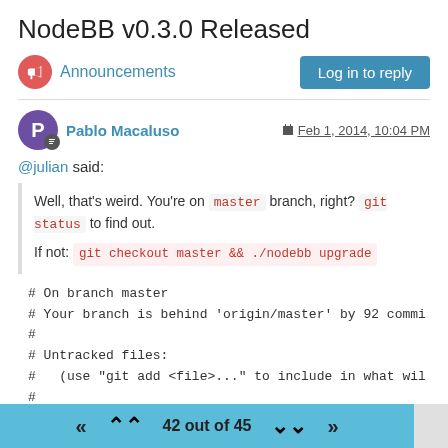NodeBB v0.3.0 Released
Announcements
Log in to reply
Pablo Macaluso   Feb 1, 2014, 10:04 PM
@julian said:
Well, that's weird. You're on master branch, right? git status to find out.
If not: git checkout master && ./nodebb upgrade
# On branch master
# Your branch is behind 'origin/master' by 92 commi
#
# Untracked files:
#   (use "git add <file>..." to include in what wil
#
42 out of 45